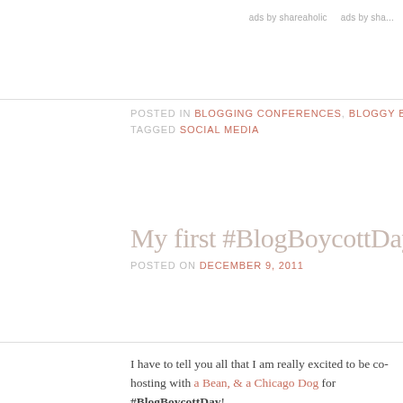ads by shareaholic   ads by sha...
POSTED IN BLOGGING CONFERENCES, BLOGGY BOOTCAMP, GLEEK RET...
TAGGED SOCIAL MEDIA
My first #BlogBoycottDay!
POSTED ON DECEMBER 9, 2011
I have to tell you all that I am really excited to be co-hosting with a Bean, & a Chicago Dog for #BlogBoycottDay!
During the last #BlogBoycottDay Liz said that she was ready to... in taking it over! I quickly raised my hand and here I am!